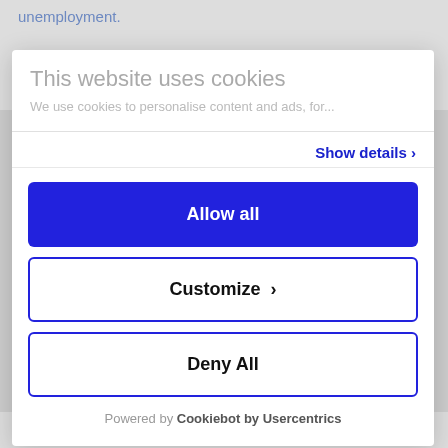unemployment.
[Figure (illustration): Handwritten signature/initials in ink]
This website uses cookies
We use cookies to personalise content and ads, for...
Show details >
Allow all
Customize >
Deny All
Powered by Cookiebot by Usercentrics
navigate this crisis together.